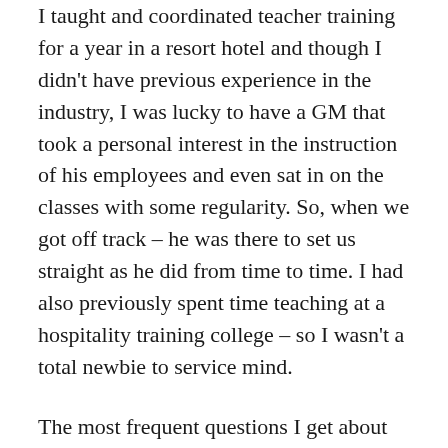I taught and coordinated teacher training for a year in a resort hotel and though I didn't have previous experience in the industry, I was lucky to have a GM that took a personal interest in the instruction of his employees and even sat in on the classes with some regularity. So, when we got off track – he was there to set us straight as he did from time to time. I had also previously spent time teaching at a hospitality training college – so I wasn't a total newbie to service mind.
The most frequent questions I get about these jobs is how to find them. You won't see them posted on job boards very often.
Here is why: